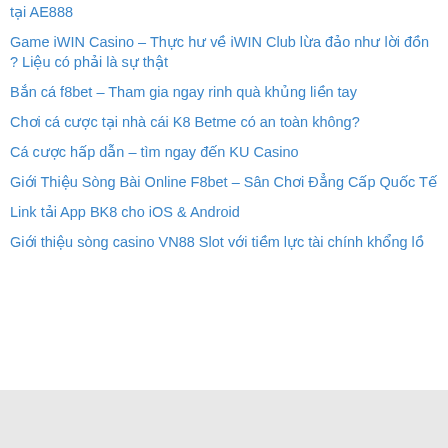tại AE888
Game iWIN Casino – Thực hư về iWIN Club lừa đảo như lời đồn ? Liệu có phải là sự thật
Bắn cá f8bet – Tham gia ngay rinh quà khủng liền tay
Chơi cá cược tại nhà cái K8 Betme có an toàn không?
Cá cược hấp dẫn – tìm ngay đến KU Casino
Giới Thiệu Sòng Bài Online F8bet – Sân Chơi Đẳng Cấp Quốc Tế
Link tải App BK8 cho iOS & Android
Giới thiệu sòng casino VN88 Slot với tiềm lực tài chính khổng lồ